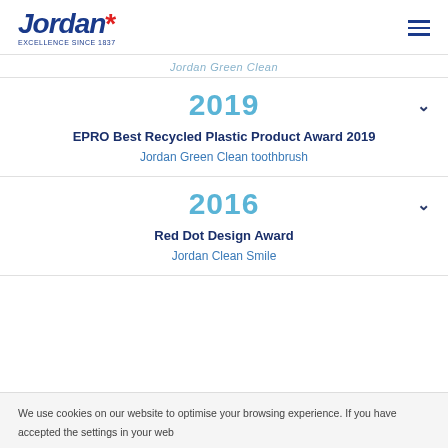Jordan* | Navigation menu
Jordan Green Clean
2019
EPRO Best Recycled Plastic Product Award 2019
Jordan Green Clean toothbrush
2016
Red Dot Design Award
Jordan Clean Smile
We use cookies on our website to optimise your browsing experience. If you have accepted the settings in your web